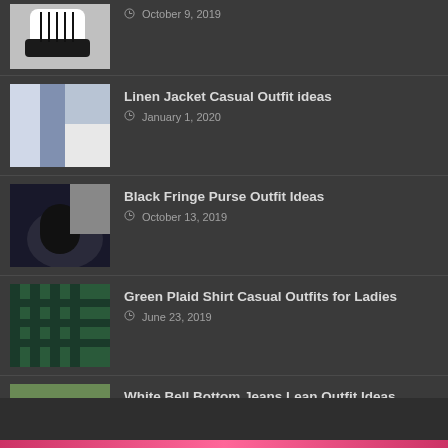October 9, 2019
Linen Jacket Casual Outfit ideas
January 1, 2020
Black Fringe Purse Outfit Ideas
October 13, 2019
Green Plaid Shirt Casual Outfits for Ladies
June 23, 2019
White Bell Bottom Jeans Lean Outfit Ideas
July 11, 2019